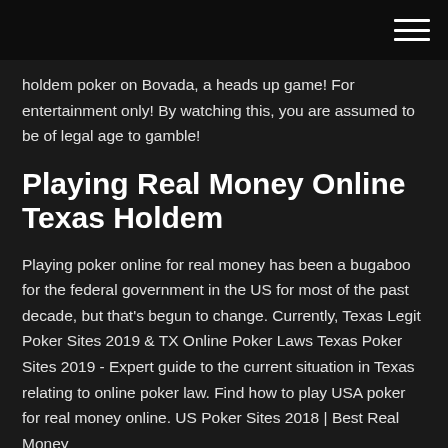holdem poker on Bovada, a heads up game! For entertainment only! By watching this, you are assumed to be of legal age to gamble!
Playing Real Money Online Texas Holdem
Playing poker online for real money has been a bugaboo for the federal government in the US for most of the past decade, but that's begun to change. Currently, Texas Legit Poker Sites 2019 & TX Online Poker Laws Texas Poker Sites 2019 - Expert guide to the current situation in Texas relating to online poker law. Find how to play USA poker for real money online. US Poker Sites 2018 | Best Real Money